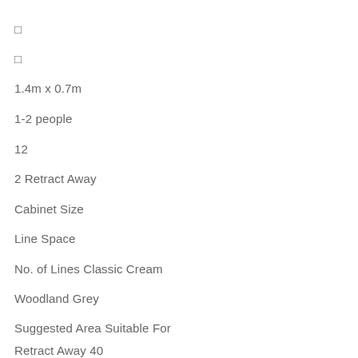□
□
1.4m x 0.7m
1-2 people
12
2 Retract Away
Cabinet Size
Line Space
No. of Lines Classic Cream
Woodland Grey
Suggested Area Suitable For
Retract Away 40